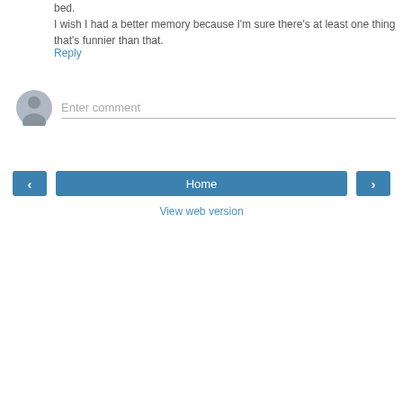bed. I wish I had a better memory because I'm sure there's at least one thing that's funnier than that.
Reply
[Figure (illustration): Gray circular avatar icon placeholder for comment entry]
Enter comment
[Figure (other): Navigation buttons: left arrow, Home button, right arrow, and View web version link]